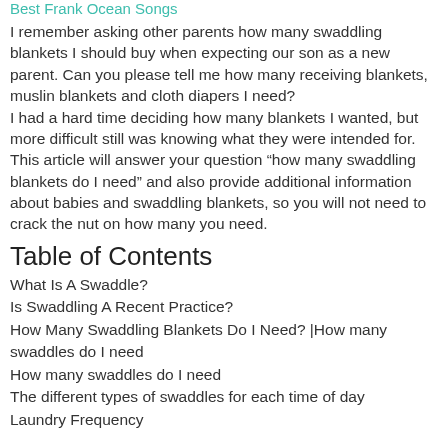Best Frank Ocean Songs
I remember asking other parents how many swaddling blankets I should buy when expecting our son as a new parent. Can you please tell me how many receiving blankets, muslin blankets and cloth diapers I need?
I had a hard time deciding how many blankets I wanted, but more difficult still was knowing what they were intended for.
This article will answer your question “how many swaddling blankets do I need” and also provide additional information about babies and swaddling blankets, so you will not need to crack the nut on how many you need.
Table of Contents
What Is A Swaddle?
Is Swaddling A Recent Practice?
How Many Swaddling Blankets Do I Need? |How many swaddles do I need
How many swaddles do I need
The different types of swaddles for each time of day
Laundry Frequency